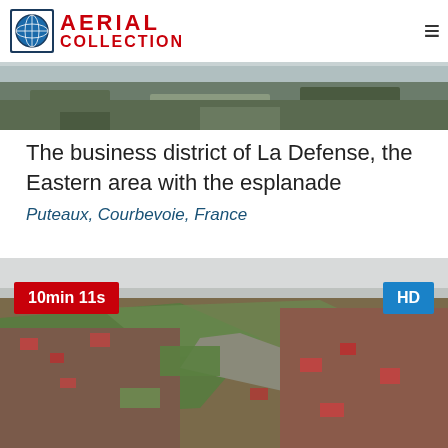AERIAL COLLECTION
[Figure (photo): Cropped aerial photograph strip at top of page showing landscape]
The business district of La Defense, the Eastern area with the esplanade
Puteaux, Courbevoie, France
[Figure (photo): Aerial photograph of a dense urban/suburban area with roads and greenery, labeled 10min 11s and HD]